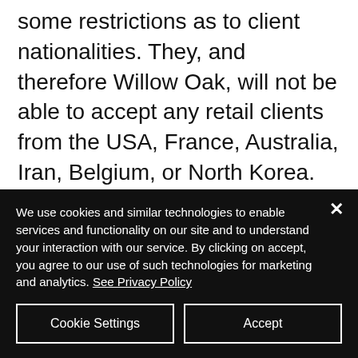some restrictions as to client nationalities. They, and therefore Willow Oak, will not be able to accept any retail clients from the USA, France, Australia, Iran, Belgium, or North Korea. This is due to regulatory restrictions. If, however, a client is an accredited investor, this need not apply. As a company, we already have a Money Manager account with the broker and can
We use cookies and similar technologies to enable services and functionality on our site and to understand your interaction with our service. By clicking on accept, you agree to our use of such technologies for marketing and analytics. See Privacy Policy